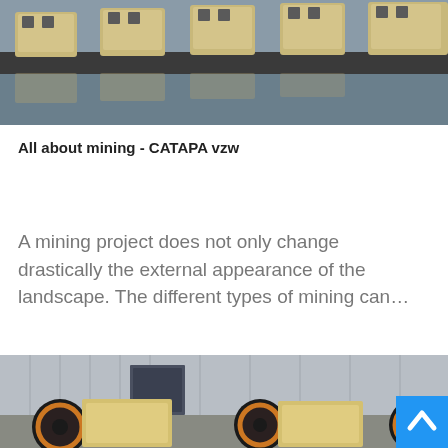[Figure (photo): Row of yellow/beige industrial mining crusher machines lined up on a platform, outdoor setting]
All about mining - CATAPA vzw
A mining project does not only change drastically the external appearance of the landscape. The different types of mining can…
[Figure (photo): Industrial mining jaw crusher machines in a factory/warehouse setting, large black and yellow/beige machines]